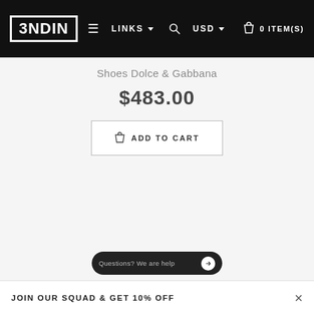3NDIN — LINKS USD 0 ITEM(S)
Shoes Dolce & Gabbana
$483.00
ADD TO CART
Questions? We are help...
JOIN OUR SQUAD & GET 10% OFF